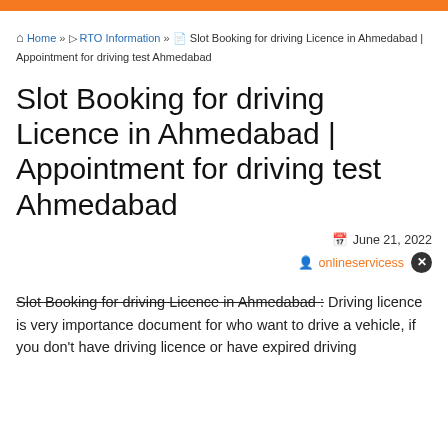Home » RTO Information » Slot Booking for driving Licence in Ahmedabad | Appointment for driving test Ahmedabad
Slot Booking for driving Licence in Ahmedabad | Appointment for driving test Ahmedabad
June 21, 2022
onlineservicess
Slot Booking for driving Licence in Ahmedabad : Driving licence is very importance document for who want to drive a vehicle, if you don't have driving licence or have expired driving...